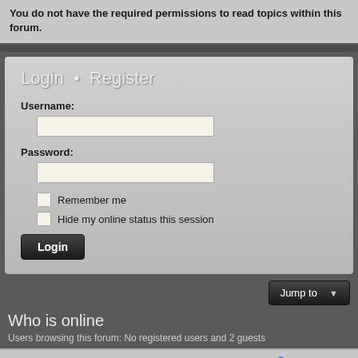You do not have the required permissions to read topics within this forum.
Login • Register
Username:
Password:
Remember me
Hide my online status this session
Login
Jump to
Who is online
Users browsing this forum: No registered users and 2 guests
Board index  Contact us  The team
Powered by phpBB® Forum Software © phpBB Limited Style by Arty